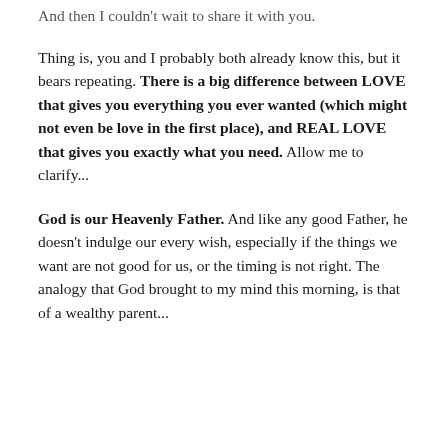And then I couldn't wait to share it with you.
Thing is, you and I probably both already know this, but it bears repeating. There is a big difference between LOVE that gives you everything you ever wanted (which might not even be love in the first place), and REAL LOVE that gives you exactly what you need. Allow me to clarify...
God is our Heavenly Father. And like any good Father, he doesn't indulge our every wish, especially if the things we want are not good for us, or the timing is not right. The analogy that God brought to my mind this morning, is that of a wealthy parent...